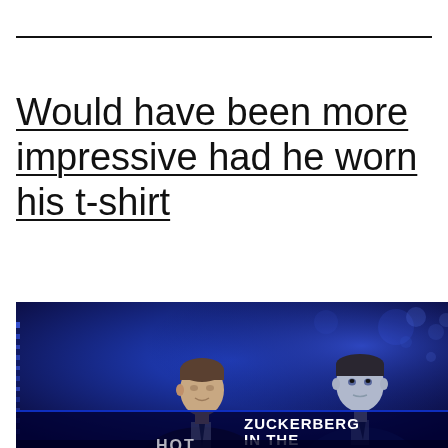Would have been more impressive had he worn his t-shirt
[Figure (photo): TV screenshot showing a news anchor in a dark suit on the left and Mark Zuckerberg on the right on a blue-lit background. Lower-third graphic reads 'ZUCKERBERG IN THE' with partial text cut off.]